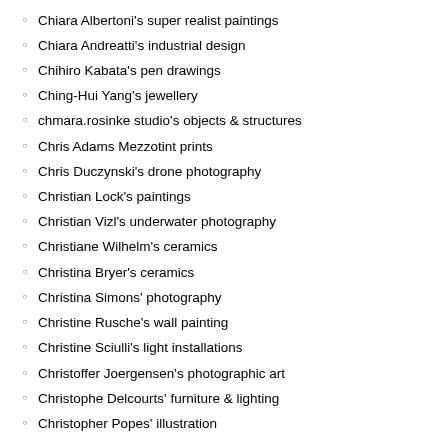Chiara Albertoni's super realist paintings
Chiara Andreatti's industrial design
Chihiro Kabata's pen drawings
Ching-Hui Yang's jewellery
chmara.rosinke studio's objects & structures
Chris Adams Mezzotint prints
Chris Duczynski's drone photography
Christian Lock's paintings
Christian Vizl's underwater photography
Christiane Wilhelm's ceramics
Christina Bryer's ceramics
Christina Simons' photography
Christine Rusche's wall painting
Christine Sciulli's light installations
Christoffer Joergensen's photographic art
Christophe Delcourts' furniture & lighting
Christopher Popes' illustration